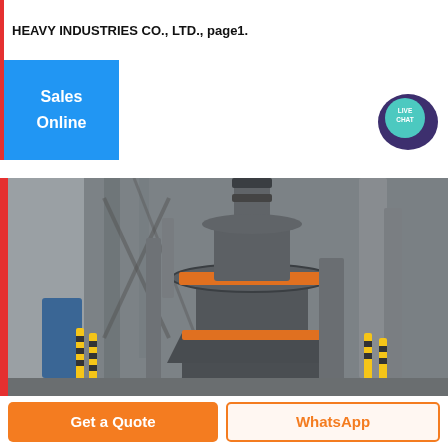HEAVY INDUSTRIES CO., LTD., page1.
Sales Online
[Figure (other): Live Chat speech bubble icon with teal/dark purple color and text LIVE CHAT]
[Figure (photo): Industrial heavy machinery interior showing a large vertical grinding mill or roller press machine with orange accent bands, surrounded by industrial steel framework, pipes, and columns in a factory setting]
Get a Quote
WhatsApp